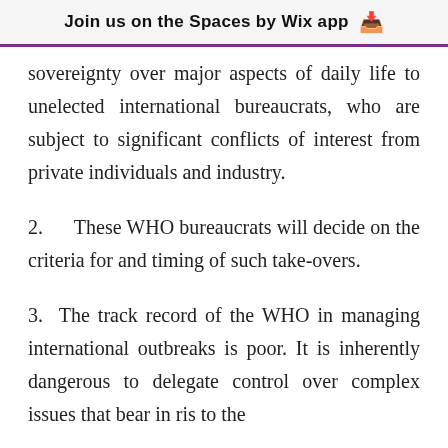Join us on the Spaces by Wix app
sovereignty over major aspects of daily life to unelected international bureaucrats, who are subject to significant conflicts of interest from private individuals and industry.
2.  These WHO bureaucrats will decide on the criteria for and timing of such take-overs.
3.  The track record of the WHO in managing international outbreaks is poor. It is inherently dangerous to delegate control over complex issues that bear...